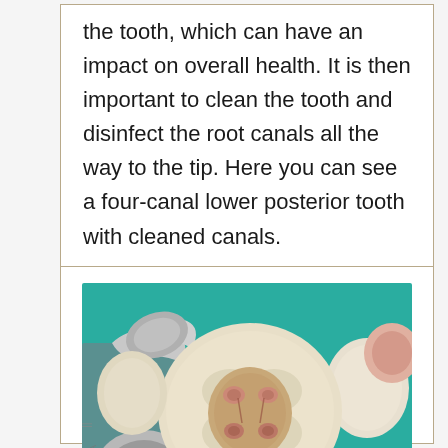the tooth, which can have an impact on overall health. It is then important to clean the tooth and disinfect the root canals all the way to the tip. Here you can see a four-canal lower posterior tooth with cleaned canals.
[Figure (photo): Clinical dental photograph showing a top-down view of a molar tooth with four visible root canals after cleaning, surrounded by a metal rubber dam clamp on teal/green rubber dam material. Adjacent teeth are visible on either side.]